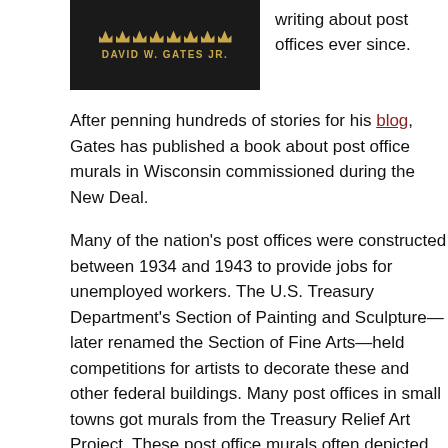[Figure (illustration): Book cover with dark background showing crowns in gold and author name DAVID W. GATES JR. in gold text]
writing about post offices ever since.
After penning hundreds of stories for his blog, Gates has published a book about post office murals in Wisconsin commissioned during the New Deal.
Many of the nation's post offices were constructed between 1934 and 1943 to provide jobs for unemployed workers. The U.S. Treasury Department's Section of Painting and Sculpture—later renamed the Section of Fine Arts—held competitions for artists to decorate these and other federal buildings. Many post offices in small towns got murals from the Treasury Relief Art Project. These post office murals often depicted the history, character, and industry of the towns where they were installed.
According to the U.S. Postal Service's website, the Postal